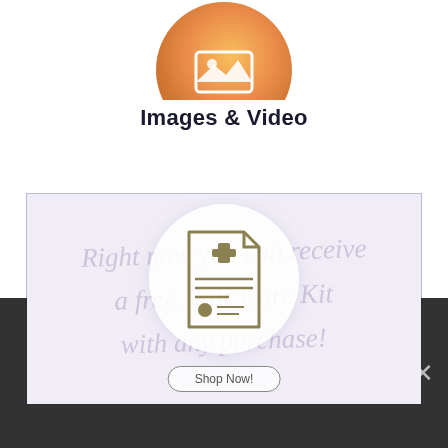[Figure (illustration): Partial orange circle icon at top, representing an image/video upload icon]
Images & Video
[Figure (screenshot): Screenshot of a product page showing a medical document icon inside a white circle, overlaid on a light purple/lavender background with italic script text reading 'Right now you can receive a free Hair Care Kit with any purchase!' and a 'Shop Now!' button at the bottom]
Claims based on traditional homeopathic practice, medical evidence not accepted. Not evaluated by the FDA.